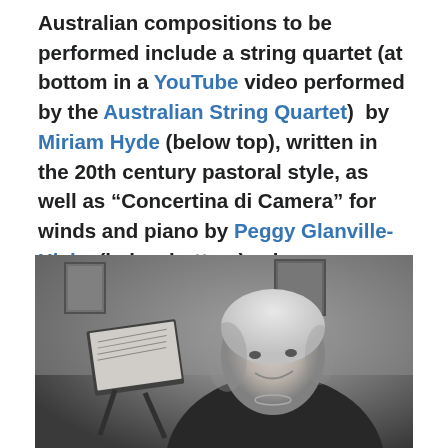Australian compositions to be performed include a string quartet (at bottom in a YouTube video performed by the Australian String Quartet)  by Miriam Hyde (below top), written in the 20th century pastoral style, as well as “Concertina di Camera” for winds and piano by Peggy Glanville-Hicks (below bottom), who was a student of Ralph Vaughan Williams.
[Figure (photo): Black and white photograph of an elderly woman with white curly hair, seated, smiling gently toward the camera. A music stand with sheet music is visible to her left, and framed pictures hang on the wall behind her.]